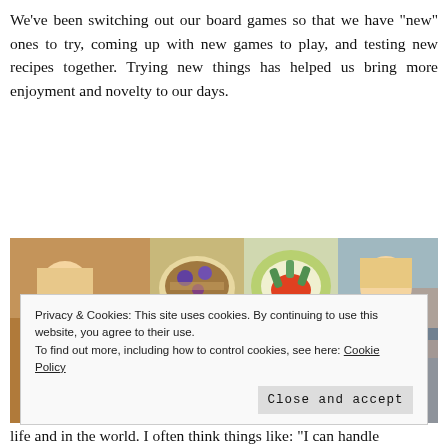We've been switching out our board games so that we have “new” ones to try, coming up with new games to play, and testing new recipes together. Trying new things has helped us bring more enjoyment and novelty to our days.
[Figure (photo): Collage of three photos: a young blonde girl playing cards at a wooden table on the left, four bowls of food in the center (grain bowl with grapes, vegetable platter, green pea dish, purple dessert bowl), and a blonde child giving thumbs up at a table on the right.]
Privacy & Cookies: This site uses cookies. By continuing to use this website, you agree to their use.
To find out more, including how to control cookies, see here: Cookie Policy
life and in the world. I often think things like: “I can handle